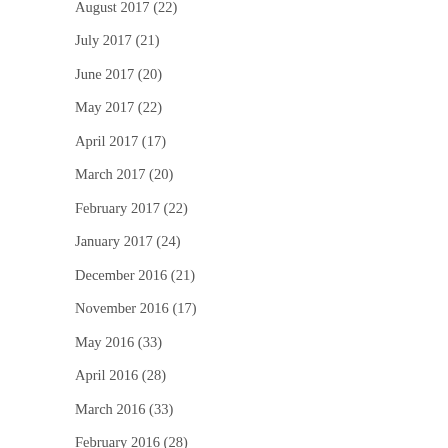August 2017 (22)
July 2017 (21)
June 2017 (20)
May 2017 (22)
April 2017 (17)
March 2017 (20)
February 2017 (22)
January 2017 (24)
December 2016 (21)
November 2016 (17)
May 2016 (33)
April 2016 (28)
March 2016 (33)
February 2016 (28)
January 2016 (31)
December 2015 (31)
November 2015 (28)
October 2015 (31)
September 2015 (23)
August 2015 (30)